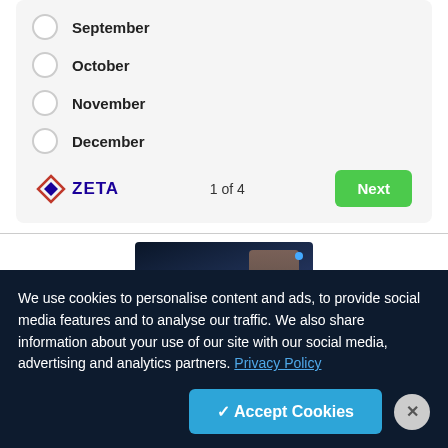September
October
November
December
[Figure (logo): Zeta logo with diamond shape icon and ZETA text in navy blue]
1 of 4
[Figure (screenshot): Screenshot of a dark website with America branding, blue UI elements, and two people on the right side]
We use cookies to personalise content and ads, to provide social media features and to analyse our traffic. We also share information about your use of our site with our social media, advertising and analytics partners. Privacy Policy
✓ Accept Cookies